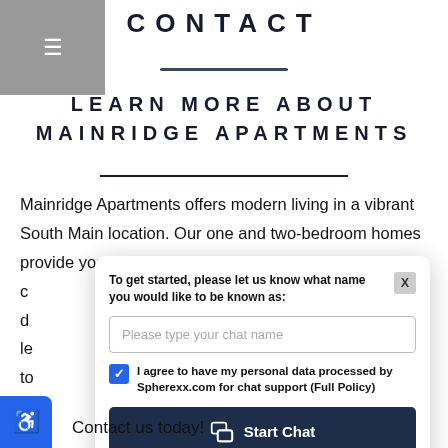CONTACT
LEARN MORE ABOUT MAINRIDGE APARTMENTS
Mainridge Apartments offers modern living in a vibrant South Main location. Our one and two-bedroom homes provide you with comfort and style th... c... d... le... to... w... Contact us today!
[Figure (screenshot): Chat popup: 'To get started, please let us know what name you would like to be known as:' with text input placeholder 'Please type your chat name', a checked consent checkbox 'I agree to have my personal data processed by Spherexx.com for chat support (Full Policy)', and a 'Start Chat' button.]